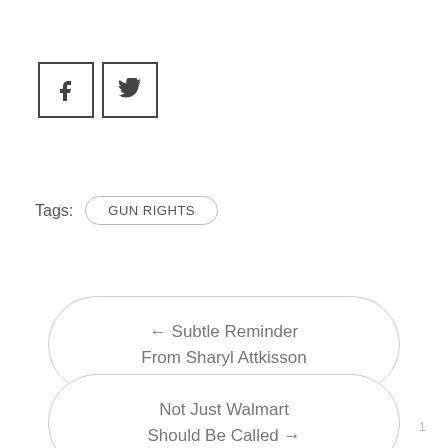[Figure (other): Social share icons: Facebook (f) and Twitter (bird) in square bordered boxes]
Tags: GUN RIGHTS
← Subtle Reminder From Sharyl Attkisson
Not Just Walmart Should Be Called →
1